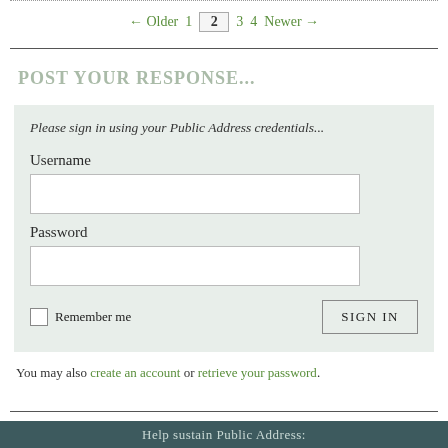← Older  1  2  3  4  Newer →
POST YOUR RESPONSE...
[Figure (screenshot): Login form on light green background with fields for Username and Password, a Remember me checkbox, and a SIGN IN button. Intro text reads: Please sign in using your Public Address credentials...]
You may also create an account or retrieve your password.
Help sustain Public Address: